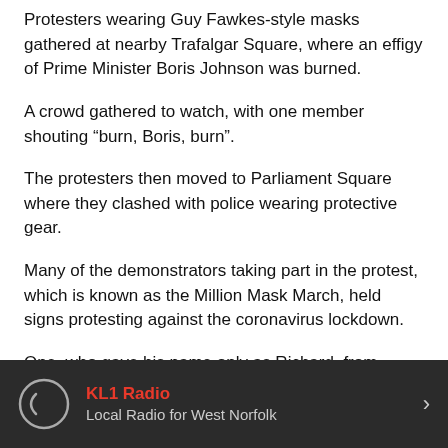Protesters wearing Guy Fawkes-style masks gathered at nearby Trafalgar Square, where an effigy of Prime Minister Boris Johnson was burned.
A crowd gathered to watch, with one member shouting “burn, Boris, burn”.
The protesters then moved to Parliament Square where they clashed with police wearing protective gear.
Many of the demonstrators taking part in the protest, which is known as the Million Mask March, held signs protesting against the coronavirus lockdown.
One, who gave his name only as Richard, from London, said the protest, which has taken place on November 5 for several years, was a “continuation” of the “anti-Covid” marches.
“It’s basically a continuation of the anti-Covid marches that
KL1 Radio | Local Radio for West Norfolk